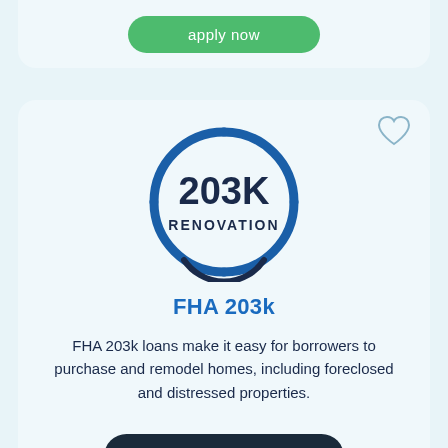[Figure (other): Apply now green button at top of card]
[Figure (logo): 203K Renovation circular logo with dark blue ring and text 203K RENOVATION inside]
FHA 203k
FHA 203k loans make it easy for borrowers to purchase and remodel homes, including foreclosed and distressed properties.
learn more
apply now